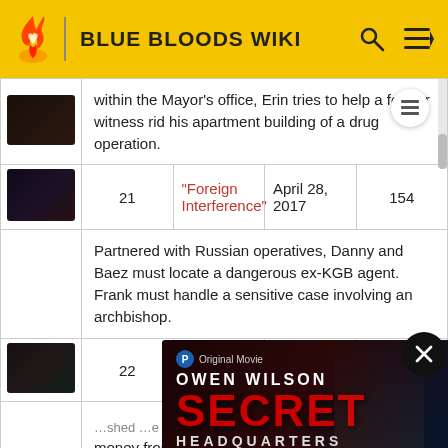BLUE BLOODS WIKI
| Image | No. | Title | Air Date | Prod. No. |
| --- | --- | --- | --- | --- |
| [image] |  | ...within the Mayor's office, Erin tries to help a former witness rid his apartment building of a drug operation. |  |  |
| [image] | 21 | "Foreign Interference" | April 28, 2017 | 154 |
|  |  | Partnered with Russian operatives, Danny and Baez must locate a dangerous ex-KGB agent. Frank must handle a sensitive case involving an archbishop. |  |  |
| [image] | 22 | "The Thin Blue... | May 5, | 155 |
|  |  | ...shed ...e ...money from a Mexican cartel which makes his... |  |  |
[Figure (screenshot): Advertisement overlay for Owen Wilson's 'Secret Headquarters' movie, streaming on Paramount+]